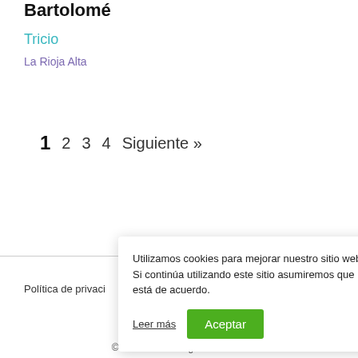Bartolomé
Tricio
La Rioja Alta
1  2  3  4  Siguiente »
Política de privaci…
Utilizamos cookies para mejorar nuestro sitio web. Si continúa utilizando este sitio asumiremos que está de acuerdo.
Leer más
Aceptar
©2022 Altura All rights reserved